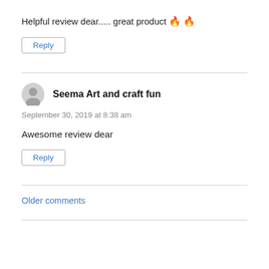Helpful review dear..... great product 🔥🔥
Reply
Seema Art and craft fun
September 30, 2019 at 8:38 am
Awesome review dear
Reply
Older comments